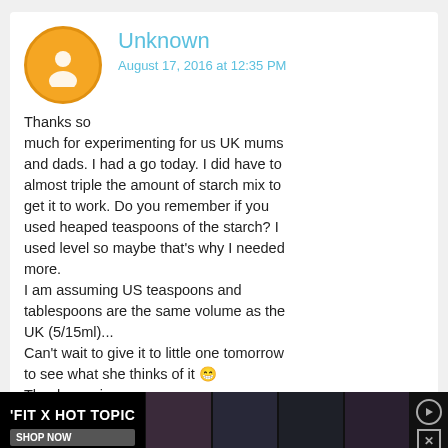Unknown
August 17, 2016 at 12:35 PM
Thanks so much for experimenting for us UK mums and dads. I had a go today. I did have to almost triple the amount of starch mix to get it to work. Do you remember if you used heaped teaspoons of the starch? I used level so maybe that's why I needed more.
I am assuming US teaspoons and tablespoons are the same volume as the UK (5/15ml)...
Can't wait to give it to little one tomorrow to see what she thinks of it 😁
Thanks again xxx
Reply
Replies
[Figure (other): FIT x HOT TOPIC advertisement banner with shop now button and images of people]